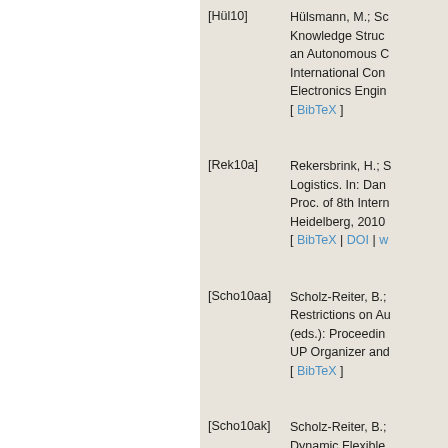[Hül10] Hülsmann, M.; Sc... Knowledge Struc... an Autonomous C... International Con... Electronics Engin... [ BibTeX ]
[Rek10a] Rekersbrink, H.; S... Logistics. In: Dan... Proc. of 8th Intern... Heidelberg, 2010... [ BibTeX | DOI | w... ]
[Scho10aa] Scholz-Reiter, B.;... Restrictions on Au... (eds.): Proceedin... UP Organizer and... [ BibTeX ]
[Scho10ak] Scholz-Reiter, B.;... Dynamic Flexible...